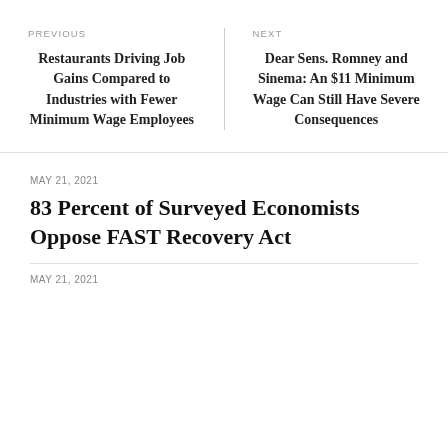PREVIOUS
Restaurants Driving Job Gains Compared to Industries with Fewer Minimum Wage Employees
NEXT
Dear Sens. Romney and Sinema: An $11 Minimum Wage Can Still Have Severe Consequences
MAY 21, 2021
83 Percent of Surveyed Economists Oppose FAST Recovery Act
MAY 21, 2021